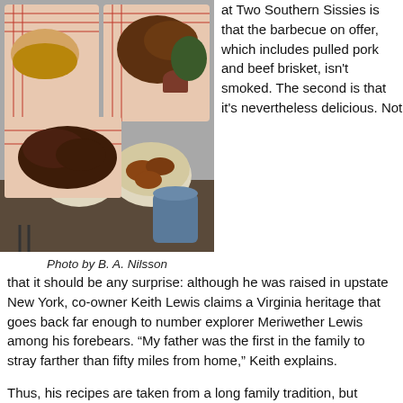[Figure (photo): Overhead view of barbecue food spread on red-checkered paper in baskets, including sandwiches, fried items, side dishes in bowls, and sauces on a dark table.]
Photo by B. A. Nilsson
at Two Southern Sissies is that the barbecue on offer, which includes pulled pork and beef brisket, isn't smoked. The second is that it's nevertheless delicious. Not that it should be any surprise: although he was raised in upstate New York, co-owner Keith Lewis claims a Virginia heritage that goes back far enough to number explorer Meriwether Lewis among his forebears. “My father was the first in the family to stray farther than fifty miles from home,” Keith explains.
Thus, his recipes are taken from a long family tradition, but adapted to be more healthful than might otherwise have been the case. Hence the smoke-free slow-cooking, not to mention ingredients that come from grass-fed, humanely